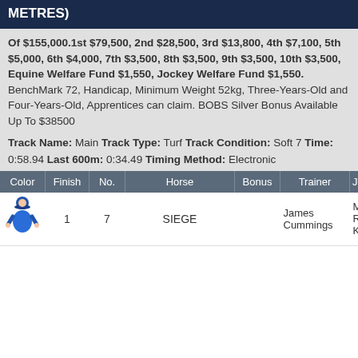METRES)
Of $155,000.1st $79,500, 2nd $28,500, 3rd $13,800, 4th $7,100, 5th $5,000, 6th $4,000, 7th $3,500, 8th $3,500, 9th $3,500, 10th $3,500, Equine Welfare Fund $1,550, Jockey Welfare Fund $1,550. BenchMark 72, Handicap, Minimum Weight 52kg, Three-Years-Old and Four-Years-Old, Apprentices can claim. BOBS Silver Bonus Available Up To $38500
Track Name: Main Track Type: Turf Track Condition: Soft 7 Time: 0:58.94 Last 600m: 0:34.49 Timing Method: Electronic
| Color | Finish | No. | Horse | Bonus | Trainer | Jockey |
| --- | --- | --- | --- | --- | --- | --- |
| [jockey icon] | 1 | 7 | SIEGE |  | James Cummings | Ms Rach King |